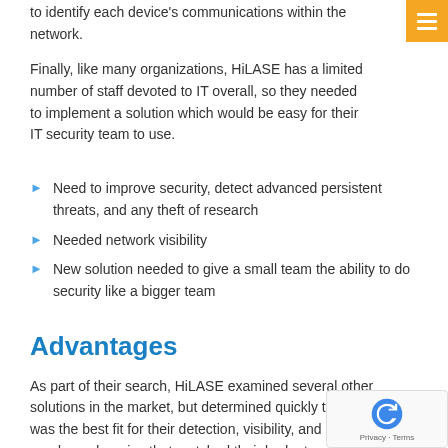to identify each device's communications within the network.
Finally, like many organizations, HiLASE has a limited number of staff devoted to IT overall, so they needed to implement a solution which would be easy for their IT security team to use.
Need to improve security, detect advanced persistent threats, and any theft of research
Needed network visibility
New solution needed to give a small team the ability to do security like a bigger team
Advantages
As part of their search, HiLASE examined several other solutions in the market, but determined quickly that MENDEL was the best fit for their detection, visibility, and ease of use needs, and a price that matched their budget.